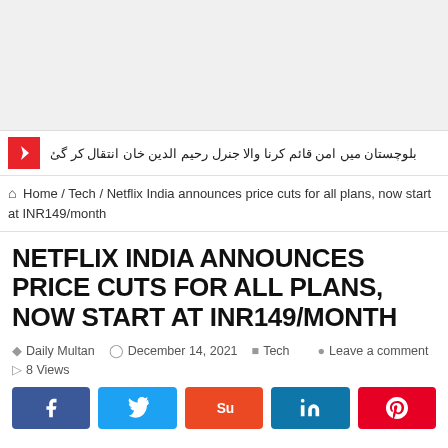[Figure (other): Advertisement / blank gray area at top of page]
بلوچستان میں امن قائم کرنا والا جنرل رحیم الدین خان انتقال کر گئ
Home / Tech / Netflix India announces price cuts for all plans, now start at INR149/month
NETFLIX INDIA ANNOUNCES PRICE CUTS FOR ALL PLANS, NOW START AT INR149/MONTH
Daily Multan   December 14, 2021   Tech   Leave a comment   8 Views
[Figure (other): Social sharing buttons: Facebook, Twitter, StumbleUpon, LinkedIn, Pinterest]
Netflix introduced its mobile-only plan in India in July 2019 priced at INR199/month in a bid to increase its subscriber base. Now in yet